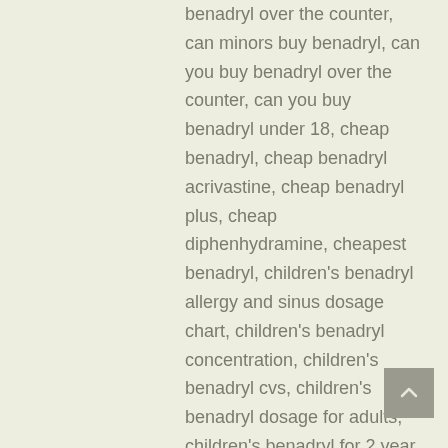benadryl over the counter, can minors buy benadryl, can you buy benadryl over the counter, can you buy benadryl under 18, cheap benadryl, cheap benadryl acrivastine, cheap benadryl plus, cheap diphenhydramine, cheapest benadryl, children's benadryl allergy and sinus dosage chart, children's benadryl concentration, children's benadryl cvs, children's benadryl dosage for adults, children's benadryl for 2 year